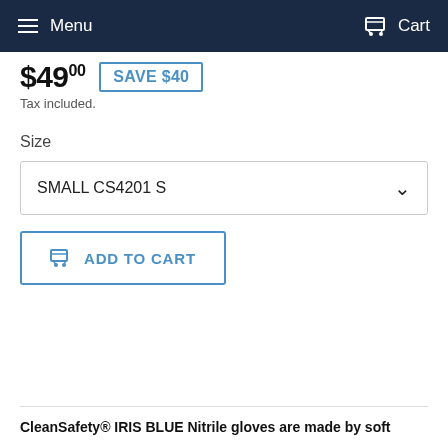Menu   Cart
$49.00  SAVE $40
Tax included.
Size
SMALL CS4201 S
ADD TO CART
CleanSafety® IRIS BLUE Nitrile gloves are made by soft